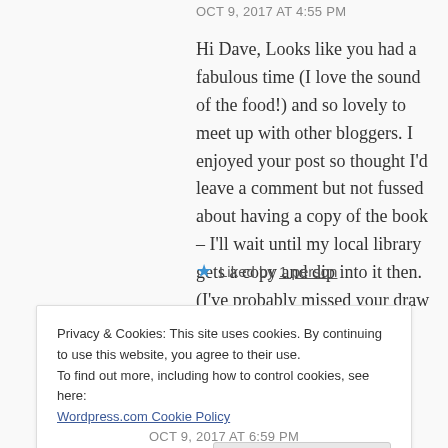OCT 9, 2017 AT 4:55 PM
Hi Dave, Looks like you had a fabulous time (I love the sound of the food!) and so lovely to meet up with other bloggers. I enjoyed your post so thought I'd leave a comment but not fussed about having a copy of the book – I'll wait until my local library gets a copy and dip into it then. (I've probably missed your draw anyway.)
Liked by 1 person
Privacy & Cookies: This site uses cookies. By continuing to use this website, you agree to their use.
To find out more, including how to control cookies, see here:
Wordpress.com Cookie Policy
Accept and Dismiss
OCT 9, 2017 AT 6:59 PM